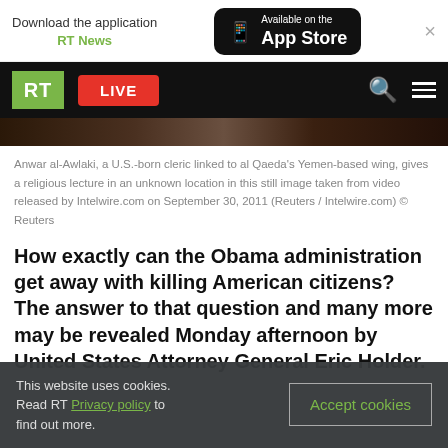Download the application RT News | Available on the App Store
[Figure (screenshot): RT news website navigation bar with green RT logo, red LIVE button, search and menu icons on black background]
Anwar al-Awlaki, a U.S.-born cleric linked to al Qaeda's Yemen-based wing, gives a religious lecture in an unknown location in this still image taken from video released by Intelwire.com on September 30, 2011 (Reuters / Intelwire.com) © Reuters
How exactly can the Obama administration get away with killing American citizens? The answer to that question and many more may be revealed Monday afternoon by United States Attorney General Eric Holder.
This website uses cookies. Read RT Privacy policy to find out more.